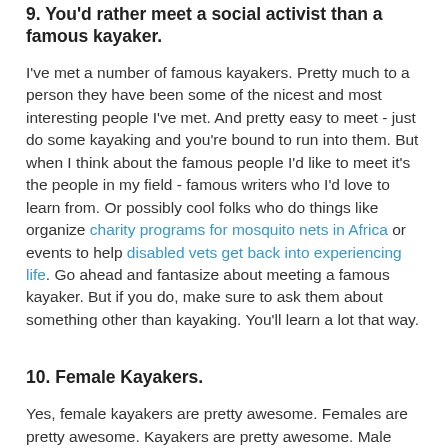9. You'd rather meet a social activist than a famous kayaker.
I've met a number of famous kayakers. Pretty much to a person they have been some of the nicest and most interesting people I've met. And pretty easy to meet - just do some kayaking and you're bound to run into them. But when I think about the famous people I'd like to meet it's the people in my field - famous writers who I'd love to learn from. Or possibly cool folks who do things like organize charity programs for mosquito nets in Africa or events to help disabled vets get back into experiencing life. Go ahead and fantasize about meeting a famous kayaker. But if you do, make sure to ask them about something other than kayaking. You'll learn a lot that way.
10. Female Kayakers.
Yes, female kayakers are pretty awesome. Females are pretty awesome. Kayakers are pretty awesome. Male kayakers are pretty awesome too. The traits that make